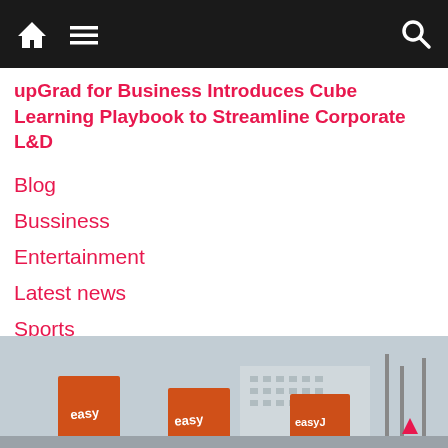Navigation bar with home, menu, and search icons
upGrad for Business Introduces Cube Learning Playbook to Streamline Corporate L&D
Blog
Bussiness
Entertainment
Latest news
Sports
UK
[Figure (photo): easyJet aircraft tails lined up at an airport, with a building in the background]